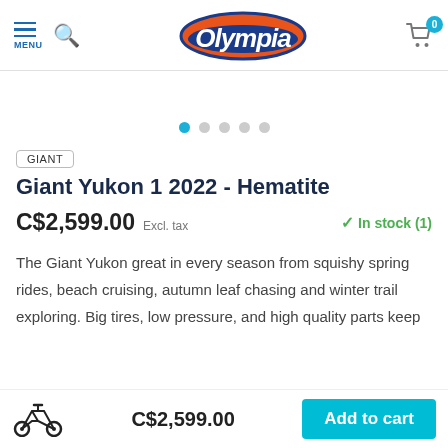Olympia — MENU, Search, Cart (0)
[Figure (other): Image carousel dots: 5 dots with first dot active (blue), rest grey]
GIANT
Giant Yukon 1 2022 - Hematite
C$2,599.00  Excl. tax     ✓ In stock (1)
The Giant Yukon great in every season from squishy spring rides, beach cruising, autumn leaf chasing and winter trail exploring. Big tires, low pressure, and high quality parts keep
C$2,599.00   Add to cart